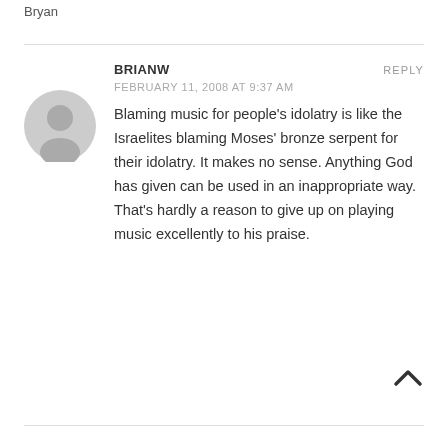Bryan
BRIANW
FEBRUARY 11, 2008 AT 9:37 AM
Blaming music for people's idolatry is like the Israelites blaming Moses' bronze serpent for their idolatry. It makes no sense. Anything God has given can be used in an inappropriate way. That's hardly a reason to give up on playing music excellently to his praise.